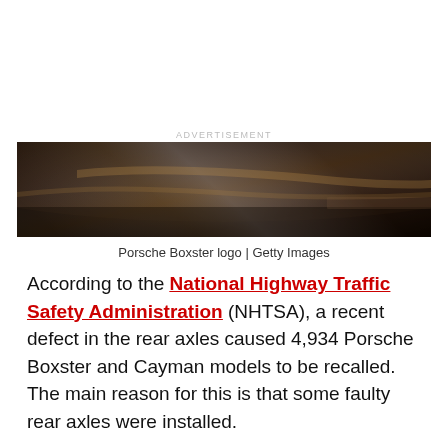[Figure (photo): Close-up photograph of Porsche Boxster logo/badge on a dark metallic surface with reflections]
Porsche Boxster logo | Getty Images
According to the National Highway Traffic Safety Administration (NHTSA), a recent defect in the rear axles caused 4,934 Porsche Boxster and Cayman models to be recalled. The main reason for this is that some faulty rear axles were installed.